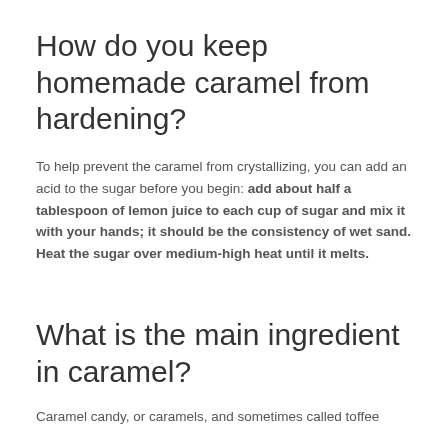How do you keep homemade caramel from hardening?
To help prevent the caramel from crystallizing, you can add an acid to the sugar before you begin: add about half a tablespoon of lemon juice to each cup of sugar and mix it with your hands; it should be the consistency of wet sand. Heat the sugar over medium-high heat until it melts.
What is the main ingredient in caramel?
Caramel candy, or caramels, and sometimes called toffee